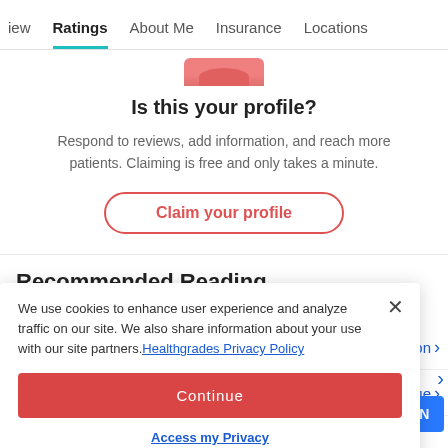iew   Ratings   About Me   Insurance   Locations
Is this your profile?
Respond to reviews, add information, and reach more patients. Claiming is free and only takes a minute.
Claim your profile
Recommended Reading
We use cookies to enhance user experience and analyze traffic on our site. We also share information about your use with our site partners. Healthgrades Privacy Policy
Continue
Access my Privacy Preferences